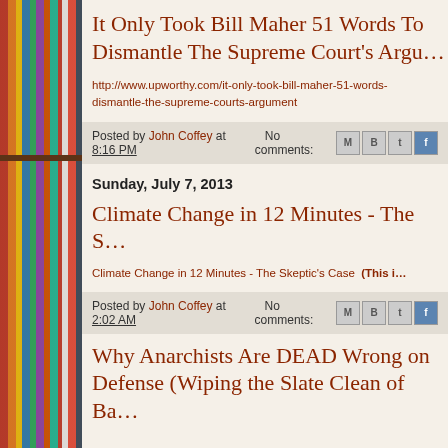It Only Took Bill Maher 51 Words To Dismantle The Supreme Court's Argu…
http://www.upworthy.com/it-only-took-bill-maher-51-words-dismantle-the-supreme-courts-argument
Posted by John Coffey at 8:16 PM   No comments:
Sunday, July 7, 2013
Climate Change in 12 Minutes - The S…
Climate Change in 12 Minutes - The Skeptic's Case  (This i…
Posted by John Coffey at 2:02 AM   No comments:
Why Anarchists Are DEAD Wrong on Defense (Wiping the Slate Clean of Ba…